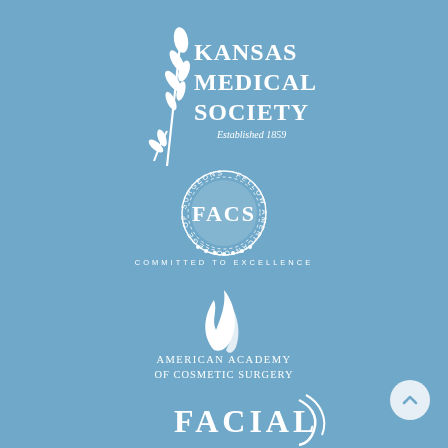[Figure (logo): Kansas Medical Society logo — white wheat stalk graphic with text 'KANSAS MEDICAL SOCIETY Established 1859' in white on blue background]
[Figure (logo): FACS (Fellow American College of Surgeons) circular seal logo in white on blue, with text 'COMMITTED TO EXCELLENCE' below]
[Figure (logo): American Academy of Cosmetic Surgery logo — white flame/leaf graphic with text 'AMERICAN ACADEMY OF COSMETIC SURGERY' in white on blue background]
[Figure (logo): Facial (partial) logo at bottom — white text 'FACIAL' with partial white graphic visible, cut off at bottom of page]